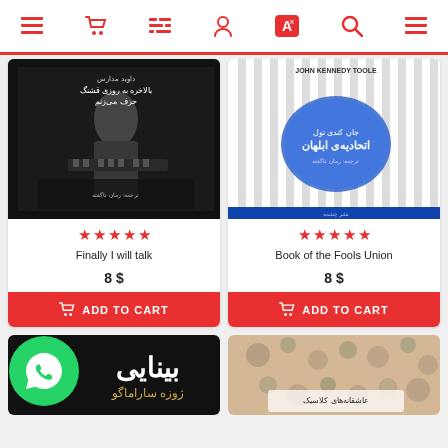Navigation bar with icons: menu, cart, list, user, translate, search, menu
[Figure (other): Book cover for 'Finally I will talk' - black and white photo of person at piano with Persian text. 5-star rating shown below cover.]
Finally I will talk
8 $
ADD TO CART
[Figure (other): Book cover for 'Book of the Fools Union' (Confederacy of Dunces by John Kennedy Toole) with blue circle and Persian text on striped background. 5-star rating shown below cover.]
Book of the Fools Union
8 $
ADD TO CART
[Figure (other): Partial book cover for 'Blindness' by Jose Saramago in Persian (بینایی by ژوزه ساراماگو) with dark background and gold author text. WhatsApp chat bubble icon overlaid in bottom left.]
[Figure (other): Partial book cover with floral pattern on beige/tan background with text عاشقانه‌های کلاسیک (Classic Love Stories)]